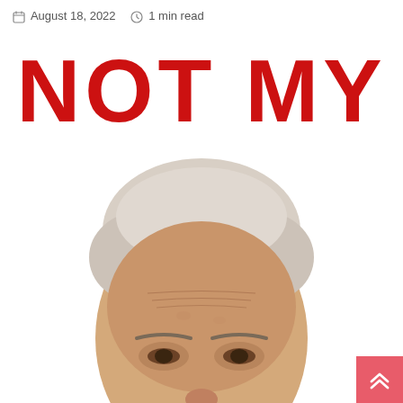August 18, 2022  1 min read
[Figure (photo): Large red bold text reading 'NOT MY' above a photo of an elderly man's face (cropped, showing forehead and eyes), on a white background. A pink/red back-to-top button with double chevron appears in the bottom-right corner.]